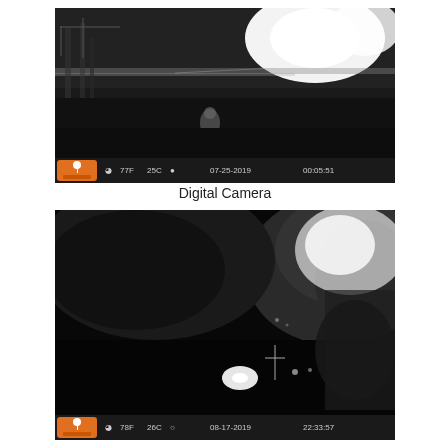[Figure (photo): Trail camera night photo in black and white showing a field with bright IR flash reflection, trees in background, and a small animal or figure visible. Camera data overlay at bottom: logo, moon phase icon, 77F, 25C, crescent moon icon, 07-25-2019, 00:05:51]
Digital Camera
[Figure (photo): Trail camera night photo in black and white showing a very dark scene with large blurry animal mass (likely bison or bear) close to camera on right side, IR flash glow in upper right, distant cross and vehicle lights in background. Camera data overlay at bottom: logo, moon phase icon, 78F, 26C, circle moon icon, 08-17-2019, 22:33:57]